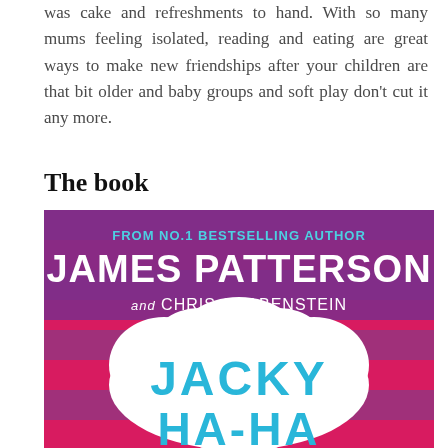was cake and refreshments to hand. With so many mums feeling isolated, reading and eating are great ways to make new friendships after your children are that bit older and baby groups and soft play don't cut it any more.
The book
[Figure (illustration): Book cover of 'Jacky Ha-Ha' by James Patterson and Chris Grabenstein. Pink and purple striped background with a large white cloud speech bubble. Text reads: FROM NO.1 BESTSELLING AUTHOR JAMES PATTERSON and CHRIS GRABENSTEIN. Inside the cloud bubble: JACKY HA-HA in large teal letters.]